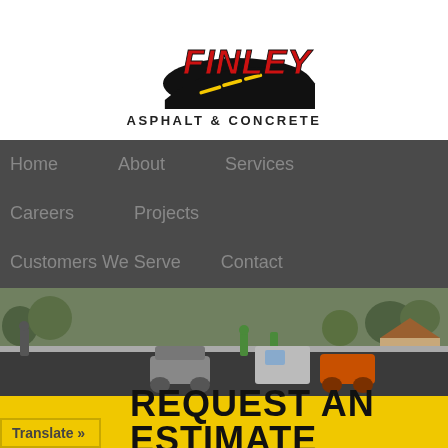[Figure (logo): Finley Asphalt & Concrete company logo — red lettering 'FINLEY' with a black road/asphalt graphic and yellow dashed lane markings, text 'ASPHALT & CONCRETE' below]
Home   About   Services   Careers   Projects   Customers We Serve   Contact
[Figure (photo): Street paving scene with workers in safety vests, asphalt paving machines and rollers on a residential road, orange compact excavator in background, trees and houses visible]
REQUEST AN ESTIMATE
Translate »